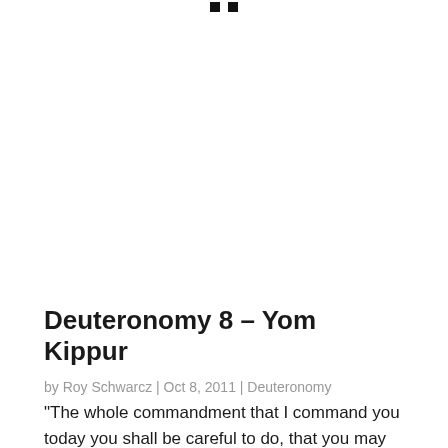■ ■
Deuteronomy 8 – Yom Kippur
by Roy Schwarcz | Oct 8, 2011 | Deuteronomy
“The whole commandment that I command you today you shall be careful to do, that you may live and multiply, and